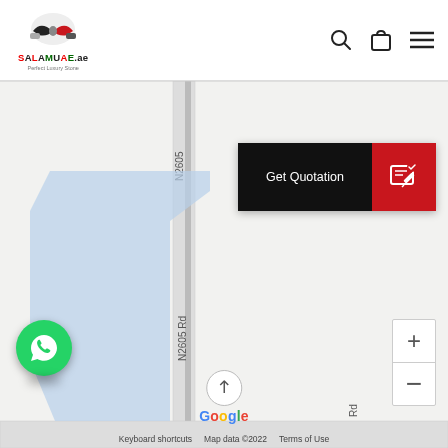[Figure (logo): SALAMUAE.ae logo with handshake icon and tagline 'Perfect Luxury Stone']
[Figure (screenshot): Google Maps screenshot showing N2605 Rd with a blue shaded polygon region]
[Figure (other): Get Quotation button with black text area and red icon area]
[Figure (other): WhatsApp floating button (green circle)]
Keyboard shortcuts
Map data ©2022
Terms of Use